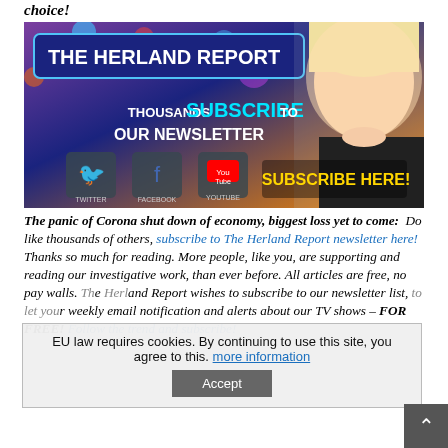choice!
[Figure (photo): The Herland Report newsletter subscription banner with blonde woman, social media icons (Twitter, Facebook, YouTube), and text 'THOUSANDS SUBSCRIBE TO OUR NEWSLETTER' and 'SUBSCRIBE HERE!']
The panic of Corona shut down of economy, biggest loss yet to come: Do like thousands of others, subscribe to The Herland Report newsletter here! Thanks so much for reading. More people, like you, are supporting and reading our investigative work, than ever before. All articles are free, no pay walls. The Herland Report wishes to subscribe to our newsletter list, to let you get weekly email notification and alerts about our TV shows – FOR FREE! Follow the trend and subscribe!
EU law requires cookies. By continuing to use this site, you agree to this. more information Accept